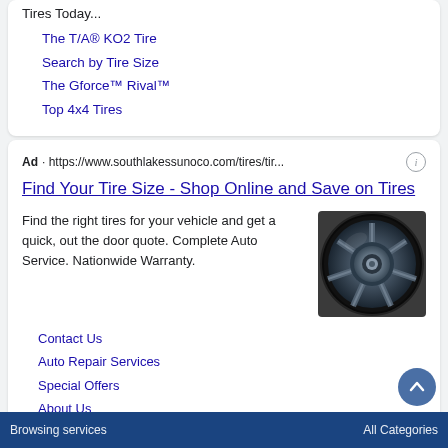Tires Today...
The T/A® KO2 Tire
Search by Tire Size
The Gforce™ Rival™
Top 4x4 Tires
Ad · https://www.southlakessunoco.com/tires/tir...
Find Your Tire Size - Shop Online and Save on Tires
Find the right tires for your vehicle and get a quick, out the door quote. Complete Auto Service. Nationwide Warranty.
[Figure (photo): Close-up photo of a dark metallic car wheel/rim]
Contact Us
Auto Repair Services
Special Offers
About Us
Browsing services   All Categories